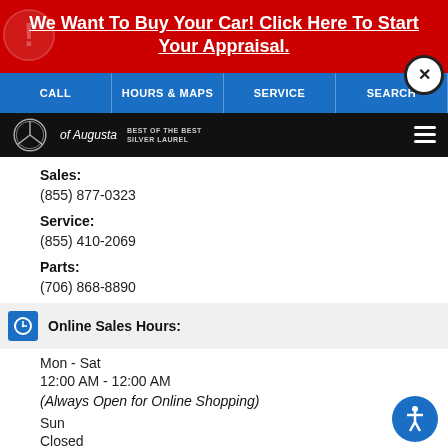We Want To Buy Your Car! Click Here To Start Your Appraisal.
CALL | HOURS & MAPS | SERVICE | SEARCH
[Figure (logo): Mercedes-Benz of Augusta dealer logo with 'Best of the Best Silver Laurel' badge and hamburger menu]
Sales:
(855) 877-0323
Service:
(855) 410-2069
Parts:
(706) 868-8890
Online Sales Hours:
Mon - Sat
12:00 AM - 12:00 AM
(Always Open for Online Shopping)
Sun
Closed
Sales Hours:
Mon - Fri